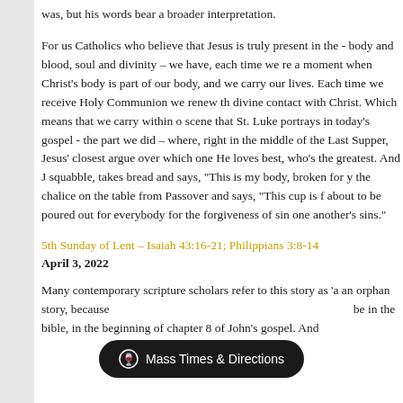was, but his words bear a broader interpretation.

For us Catholics who believe that Jesus is truly present in the - body and blood, soul and divinity – we have, each time we re a moment when Christ's body is part of our body, and we carry our lives. Each time we receive Holy Communion we renew th divine contact with Christ. Which means that we carry within o scene that St. Luke portrays in today's gospel - the part we did – where, right in the middle of the Last Supper, Jesus' closest argue over which one He loves best, who's the greatest. And J squabble, takes bread and says, "This is my body, broken for y the chalice on the table from Passover and says, "This cup is f about to be poured out for everybody for the forgiveness of sin one another's sins."
5th Sunday of Lent – Isaiah 43:16-21; Philippians 3:8-14
April 3, 2022
Many contemporary scripture scholars refer to this story as 'a an orphan story, because in the bible, in the beginning of chapter 8 of John's gospel. And
[Figure (other): Dark pill-shaped button with chalice icon and text 'Mass Times & Directions']